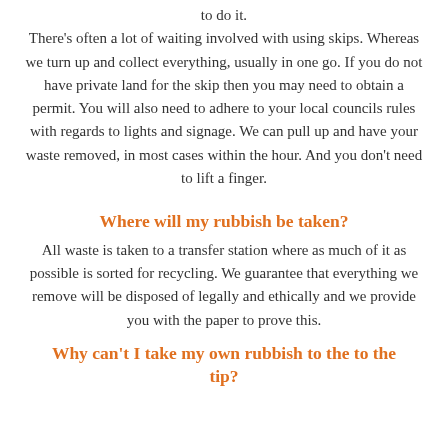to do it.
There's often a lot of waiting involved with using skips. Whereas we turn up and collect everything, usually in one go. If you do not have private land for the skip then you may need to obtain a permit. You will also need to adhere to your local councils rules with regards to lights and signage. We can pull up and have your waste removed, in most cases within the hour. And you don't need to lift a finger.
Where will my rubbish be taken?
All waste is taken to a transfer station where as much of it as possible is sorted for recycling. We guarantee that everything we remove will be disposed of legally and ethically and we provide you with the paper to prove this.
Why can't I take my own rubbish to the to the tip?